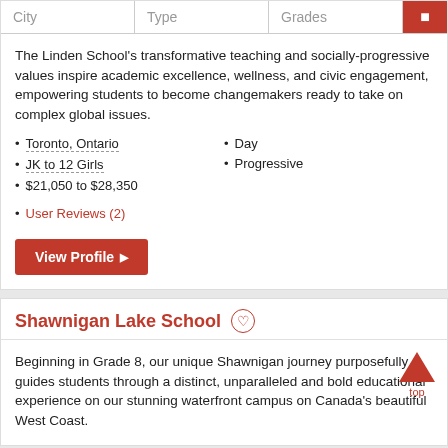| City | Type | Grades |  |
| --- | --- | --- | --- |
The Linden School's transformative teaching and socially-progressive values inspire academic excellence, wellness, and civic engagement, empowering students to become changemakers ready to take on complex global issues.
Toronto, Ontario
JK to 12 Girls
$21,050 to $28,350
Day
Progressive
User Reviews (2)
View Profile
Shawnigan Lake School
Beginning in Grade 8, our unique Shawnigan journey purposefully guides students through a distinct, unparalleled and bold educational experience on our stunning waterfront campus on Canada's beautiful West Coast.